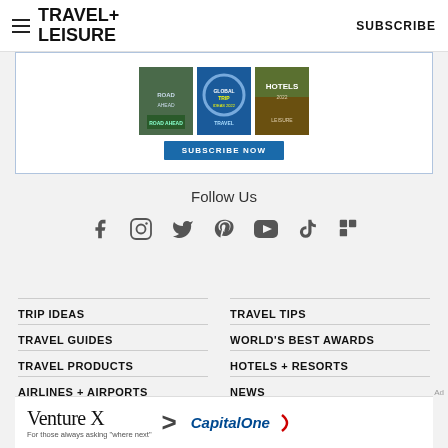TRAVEL+ LEISURE | SUBSCRIBE
[Figure (photo): Travel+Leisure magazine subscription advertisement banner with magazine covers and SUBSCRIBE NOW button]
Follow Us
[Figure (other): Row of social media icons: Facebook, Instagram, Twitter, Pinterest, YouTube, TikTok, Flipboard]
TRIP IDEAS
TRAVEL TIPS
TRAVEL GUIDES
WORLD'S BEST AWARDS
TRAVEL PRODUCTS
HOTELS + RESORTS
AIRLINES + AIRPORTS
NEWS
[Figure (other): Venture X Capital One advertisement banner: 'Venture X For those always asking where next']